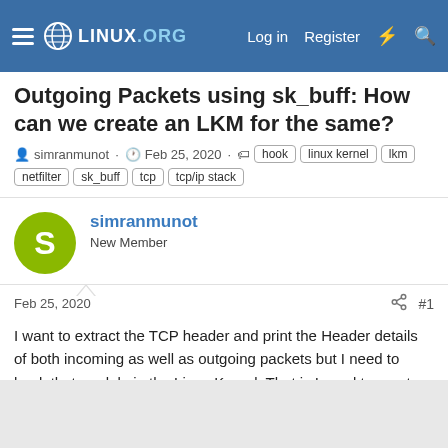Linux.org — Log in   Register
Outgoing Packets using sk_buff: How can we create an LKM for the same?
simranmunot · Feb 25, 2020 · hook   linux kernel   lkm   netfilter   sk_buff   tcp   tcp/ip stack
simranmunot
New Member
Feb 25, 2020   #1
I want to extract the TCP header and print the Header details of both incoming as well as outgoing packets but I need to hook that module in the Linux Kernel. That is I need to create an LKM for the same.